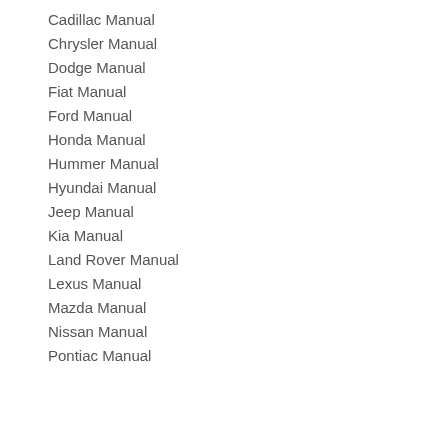Cadillac Manual
Chrysler Manual
Dodge Manual
Fiat Manual
Ford Manual
Honda Manual
Hummer Manual
Hyundai Manual
Jeep Manual
Kia Manual
Land Rover Manual
Lexus Manual
Mazda Manual
Nissan Manual
Pontiac Manual